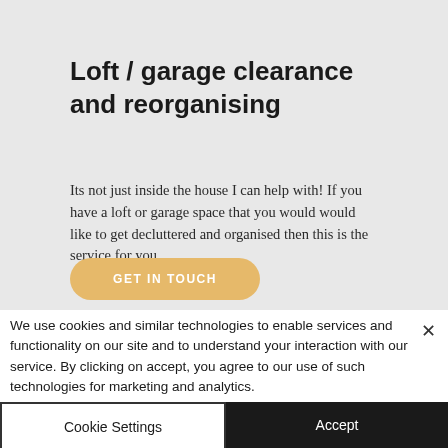Loft / garage clearance and reorganising
Its not just inside the house I can help with! If you have a loft or garage space that you would would like to get decluttered and organised then this is the service for you.
GET IN TOUCH
We use cookies and similar technologies to enable services and functionality on our site and to understand your interaction with our service. By clicking on accept, you agree to our use of such technologies for marketing and analytics.
Cookie Settings
Accept